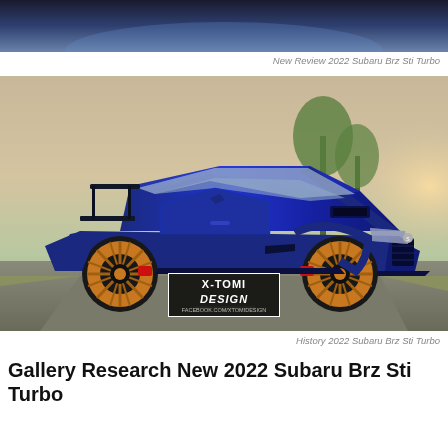[Figure (photo): Top portion of a cropped car photo showing dark sky and blurred background, partially cut off at the top of the page]
New Review 2022 Subaru Brz Sti Turbo
[Figure (photo): Rendered image by X-Tomi Design of a blue 2022 Subaru BRZ STI Turbo concept car with a large rear wing, bronze/gold multi-spoke wheels, red brake calipers, and aggressive widebody styling, parked on a road with palm trees and sunset sky in the background. The X-Tomi Design watermark logo is visible in the lower center of the image.]
History 2022 Subaru Brz Sti Turbo
Gallery Research New 2022 Subaru Brz Sti Turbo